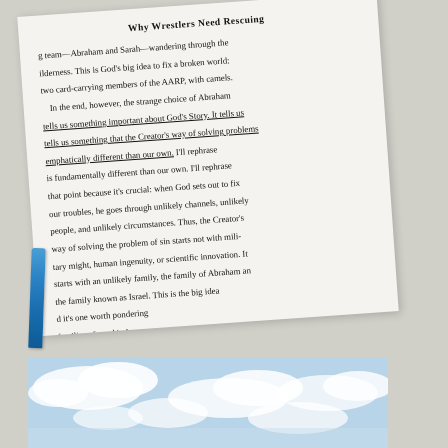Why Wrestlers Need Rescuing
team—Abraham and Sarah—wandering through the wilderness. This is God's big idea to fix a broken world: two card-carrying members of the AARP, with camels. In the end, however, the strange choice of Abraham tells us something important about God's Story. It tells us something important about God's Story. It tells us tells us something that the Creator's way of solving problems emphatically that the Creator's way of solving problems is fundamentally different than our own. I'll rephrase that point because it's crucial: when God sets out to fix our troubles, he goes through unlikely channels, unlikely people, and unlikely circumstances. Thus, the Creator's way of solving the problem of sin starts not with military might, human ingenuity, or scientific innovation. It starts with an unlikely family, the family of Abraham and the family known as Israel. This is the big idea and it's one worth pondering families of one kind or another stuck around or not ilies are l
[Figure (photo): Sky photo with clouds, blue sky background visible at the bottom of the image]